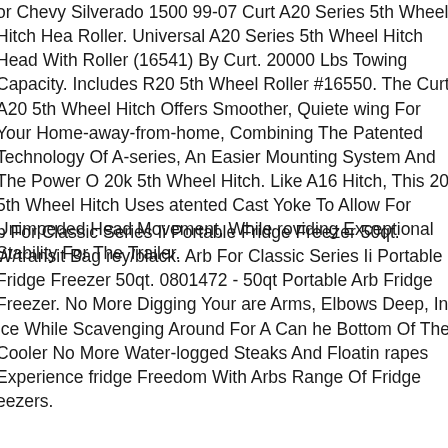or Chevy Silverado 1500 99-07 Curt A20 Series 5th Wheel Hitch Head With Roller. Universal A20 Series 5th Wheel Hitch Head With Roller (16541) By Curt. 20000 Lbs Towing Capacity. Includes R20 5th Wheel Roller #16550. The Curt A20 5th Wheel Hitch Offers Smoother, Quieter Towing For Your Home-away-from-home, Combining The Patented Technology Of A-series, An Easier Mounting System And The Power Of 20k 5th Wheel Hitch. Like A16 Hitch, This 20k 5th Wheel Hitch Uses A Patented Cast Yoke To Allow For Unimpeded Head Movement, While Providing Exceptional Stability For The Trailer.
b For Classic Series Ii Portable Fridge Freezer 50qt. W/transit Bag Grey/black. Arb For Classic Series Ii Portable Fridge Freezer 50qt. 0801472 - 50qt Portable Arb Fridge Freezer. No More Digging Your Bare Arms, Elbows Deep, In Ice While Scavenging Around For A Can At The Bottom Of The Cooler No More Water-logged Steaks And Floating Grapes Experience fridge Freedom With Arbs Range Of Fridge Freezers.